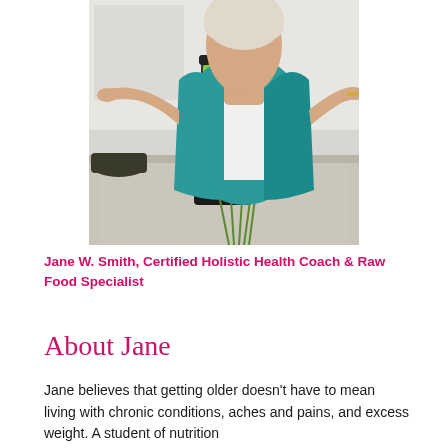[Figure (photo): A woman in a teal/blue jacket standing at a kitchen counter with a blender containing green liquid, fresh parsley/herbs in front, arms outstretched in a welcoming gesture]
Jane W. Smith, Certified Holistic Health Coach & Raw Food Specialist
About Jane
Jane believes that getting older doesn't have to mean living with chronic conditions, aches and pains, and excess weight. A student of nutrition